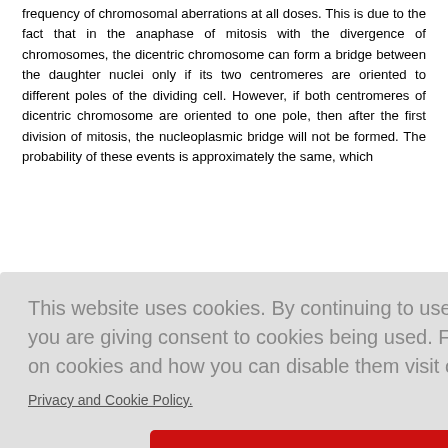frequency of chromosomal aberrations at all doses. This is due to the fact that in the anaphase of mitosis with the divergence of chromosomes, the dicentric chromosome can form a bridge between the daughter nuclei only if its two centromeres are oriented to different poles of the dividing cell. However, if both centromeres of dicentric chromosome are oriented to one pole, then after the first division of mitosis, the nucleoplasmic bridge will not be formed. The probability of these events is approximately the same, which
This website uses cookies. By continuing to use this website you are giving consent to cookies being used. For information on cookies and how you can disable them visit our
Privacy and Cookie Policy.
AGREE & PROCEED
chromosomal aberrations are transformed